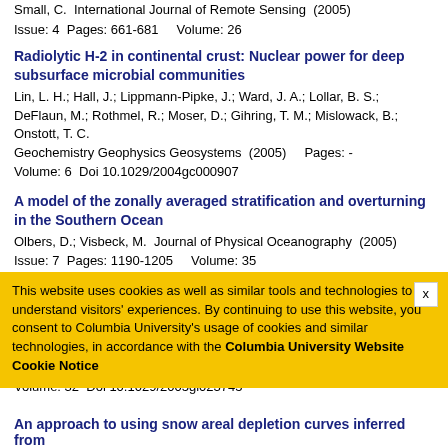Small, C.  International Journal of Remote Sensing  (2005)
Issue: 4  Pages: 661-681    Volume: 26
Radiolytic H-2 in continental crust: Nuclear power for deep subsurface microbial communities
Lin, L. H.; Hall, J.; Lippmann-Pipke, J.; Ward, J. A.; Lollar, B. S.; DeFlaun, M.; Rothmel, R.; Moser, D.; Gihring, T. M.; Mislowack, B.; Onstott, T. C.
Geochemistry Geophysics Geosystems  (2005)    Pages: -
Volume: 6  Doi 10.1029/2004gc000907
A model of the zonally averaged stratification and overturning in the Southern Ocean
Olbers, D.; Visbeck, M.  Journal of Physical Oceanography  (2005)
Issue: 7  Pages: 1190-1205    Volume: 35
Global surface temperature signals in pine ring-width chronologies from southern monsoon Asia
Buckley, B. M.; Cook, B. I.; Bhattacharyya, A.; Dukpa, D.; Chaudhary, V.
Geophysical Research Letters  (2005)  Issue: 20  Pages: -
Volume: 32  Doi 10.1029/2005gl023745
This website uses cookies as well as similar tools and technologies to understand visitors' experiences. By continuing to use this website, you consent to Columbia University's usage of cookies and similar technologies, in accordance with the Columbia University Website Cookie Notice
An approach to using snow areal depletion curves inferred from